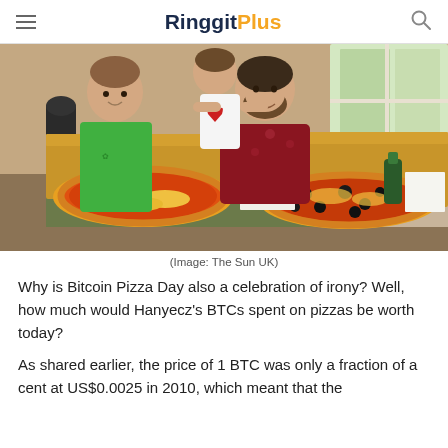RinggitPlus
[Figure (photo): A man with two children looking at two large pizzas in open boxes on a table. The man is wearing a dark red floral shirt, one child in a green t-shirt stands to the left, and another child in a white shirt is held by the man. The setting appears to be indoors near a window.]
(Image: The Sun UK)
Why is Bitcoin Pizza Day also a celebration of irony? Well, how much would Hanyecz's BTCs spent on pizzas be worth today?
As shared earlier, the price of 1 BTC was only a fraction of a cent at US$0.0025 in 2010, which meant that the